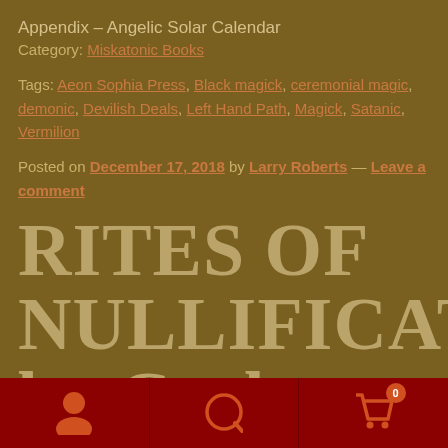Appendix – Angelic Solar Calendar
Category: Miskatonic Books
Tags: Aeon Sophia Press, Black magick, ceremonial magic, demonic, Devilish Deals, Left Hand Path, Magick, Satanic, Vermilion
Posted on December 17, 2018 by Larry Roberts — Leave a comment
RITES OF NULLIFICATION